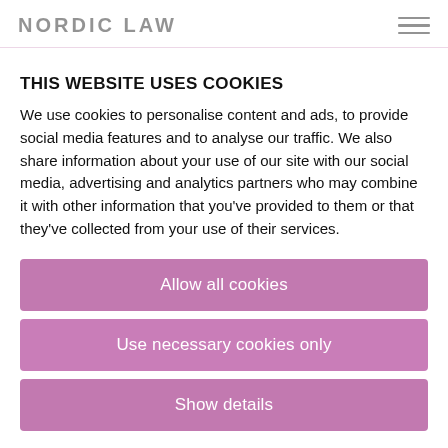NORDIC LAW
the European Data Protection Board. It is still worth emphasizing that these rulings have already been achieved, such as the...
THIS WEBSITE USES COOKIES
We use cookies to personalise content and ads, to provide social media features and to analyse our traffic. We also share information about your use of our site with our social media, advertising and analytics partners who may combine it with other information that you've provided to them or that they've collected from your use of their services.
As a law firm specializing in data protection, we Nordic Law...
Our Trainee Jere Lehtimäki took part in writing of this article.
Allow all cookies
14.07.2020   JON
Use necessary cookies only
Tags: data protection, data protection finland, eu commission, eu data protection, gdpr finland, new data protection, nordic law, nordic law o...
Show details